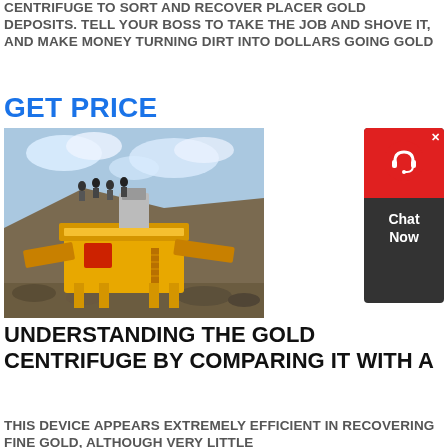CENTRIFUGE TO SORT AND RECOVER PLACER GOLD DEPOSITS. TELL YOUR BOSS TO TAKE THE JOB AND SHOVE IT, AND MAKE MONEY TURNING DIRT INTO DOLLARS GOING GOLD
GET PRICE
[Figure (photo): Yellow mobile gold mining/crushing equipment on a rocky hillside with workers standing on top and cloudy sky in the background]
[Figure (other): Red and dark chat widget with a headset icon and 'Chat Now' text]
UNDERSTANDING THE GOLD CENTRIFUGE BY COMPARING IT WITH A
THIS DEVICE APPEARS EXTREMELY EFFICIENT IN RECOVERING FINE GOLD, ALTHOUGH VERY LITTLE